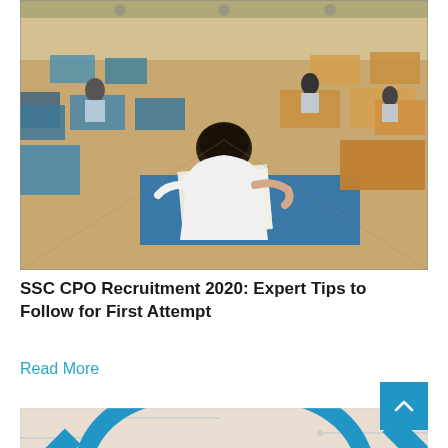[Figure (photo): Students sitting at wooden desks in an examination hall, wearing school uniforms. A student in the foreground seen from behind, writing. Many rows of desks visible in the background.]
SSC CPO Recruitment 2020: Expert Tips to Follow for First Attempt
Read More
[Figure (illustration): Blue circular arch graphic with technology/circuit board design elements on a light beige background, partially visible at the bottom of the page.]